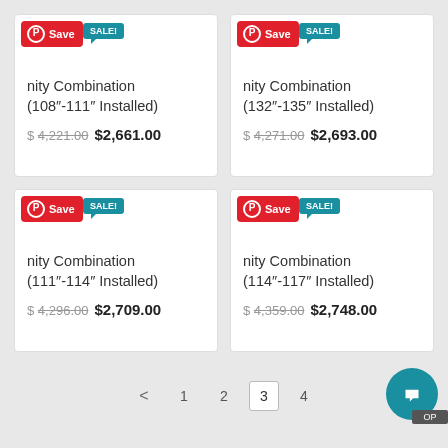[Figure (screenshot): Product card: Unity Combination (108"-111" Installed), original price $4,221.00, sale price $2,661.00, with Pinterest Save button and SALE badge]
[Figure (screenshot): Product card: Unity Combination (132"-135" Installed), original price $4,271.00, sale price $2,693.00, with Pinterest Save button and SALE badge]
[Figure (screenshot): Product card: Unity Combination (111"-114" Installed), original price $4,296.00, sale price $2,709.00, with Pinterest Save button and SALE badge]
[Figure (screenshot): Product card: Unity Combination (114"-117" Installed), original price $4,359.00, sale price $2,748.00, with Pinterest Save button and SALE badge]